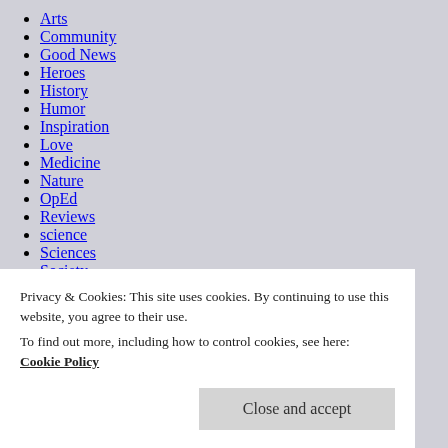Arts
Community
Good News
Heroes
History
Humor
Inspiration
Love
Medicine
Nature
OpEd
Reviews
science
Sciences
Society
Updates
Privacy & Cookies: This site uses cookies. By continuing to use this website, you agree to their use. To find out more, including how to control cookies, see here: Cookie Policy
Close and accept